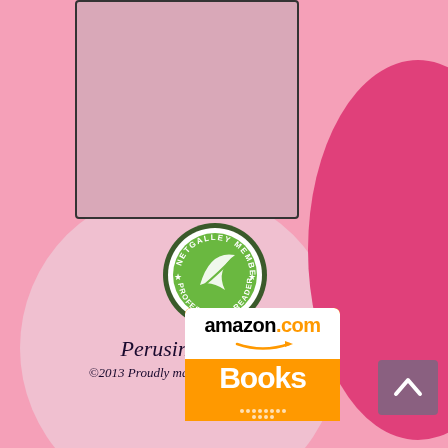[Figure (illustration): Pink book cover placeholder with dark border]
[Figure (logo): NetGalley Member Professional Reader circular badge with green swoosh logo]
Perusing Princesses
©2013 Proudly made by De Sant Web Designs
[Figure (logo): Amazon.com Books logo with orange background and arrow smile]